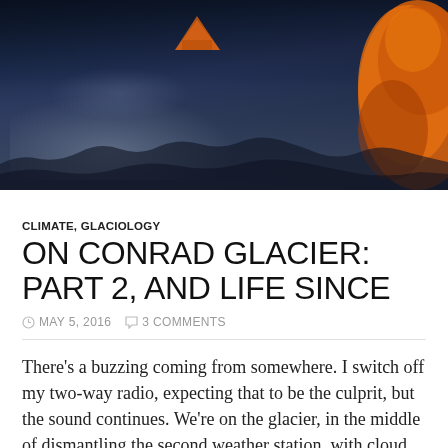[Figure (photo): Dark blue-toned photograph of a snowy glacier scene with orange tent(s) visible, one large orange tent or sleeping bag on the right side, rocks and snow visible, taken in low light or overcast conditions.]
CLIMATE, GLACIOLOGY
ON CONRAD GLACIER: PART 2, AND LIFE SINCE
MAY 5, 2016   3 COMMENTS
There's a buzzing coming from somewhere. I switch off my two-way radio, expecting that to be the culprit, but the sound continues. We're on the glacier, in the middle of dismantling the second weather station, with cloud rolling in around us. I'm